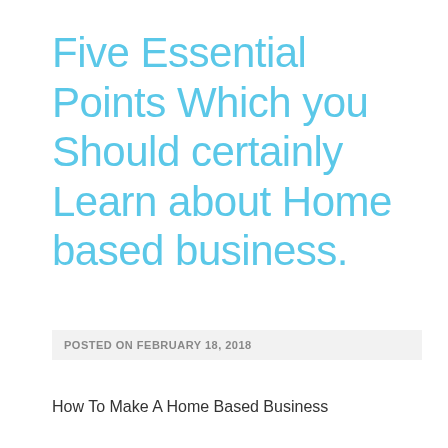Five Essential Points Which you Should certainly Learn about Home based business.
POSTED ON FEBRUARY 18, 2018
How To Make A Home Based Business